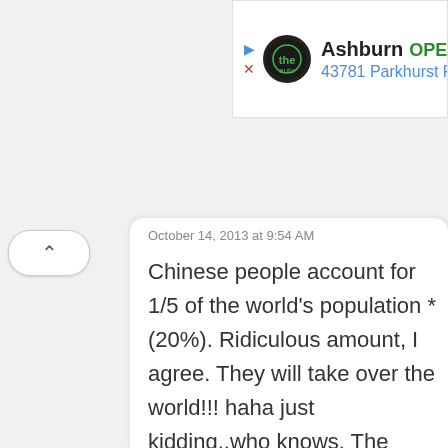[Figure (screenshot): Ad banner showing 'Ashburn OPEN 7:30A 43781 Parkhurst Plaza,' with a circular logo, play and close icons in blue]
October 14, 2013 at 9:54 AM
Chinese people account for 1/5 of the world's population *(20%). Ridiculous amount, I agree. They will take over the world!!! haha just kidding..who knows. The native Asians always come up with radical things (originally PS, VHS, DVDs and so on) so don't let some face-kini fool you. It's just a facade